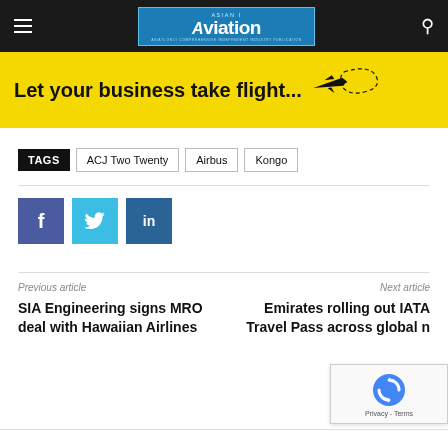Asian Aviation — navigation bar with logo
[Figure (illustration): Yellow advertisement banner with text 'Let your business take flight...' and a black airplane silhouette with dashed flight path]
TAGS  ACJ Two Twenty  Airbus  Kongo
[Figure (infographic): Three social media share buttons: Facebook (dark blue, f), Twitter (light blue, bird), LinkedIn (dark blue, in)]
Previous article
SIA Engineering signs MRO deal with Hawaiian Airlines
Next article
Emirates rolling out IATA Travel Pass across global n...
[Figure (other): reCAPTCHA widget with rotating arrows logo and 'Privacy - Terms' text]